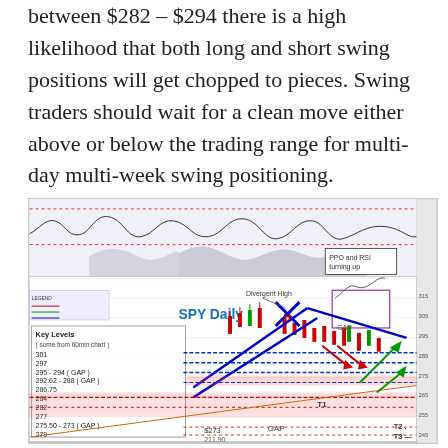between $282 – $294 there is a high likelihood that both long and short swing positions will get chopped to pieces. Swing traders should wait for a clean move either above or below the trading range for multi-day multi-week swing positioning.
[Figure (continuous-plot): SPY Daily chart with key price levels annotated. Shows candlestick price action with indicators (PPO and RSI turning up), blue trend lines, red and green arrows indicating potential directional moves, a box with Key Levels (some from 60min chart): 301, 297, 295-294 (GAP), 292.62-288 (GAP), 286.75, 284, 282, 277, 275.50-273 (GAP), 279, 283, 258.50. Labels include 'Divergent High', 'GAP', 'T1', 'T2', 'T3', '$273', '211.90'. Trading range and gap zones highlighted.]